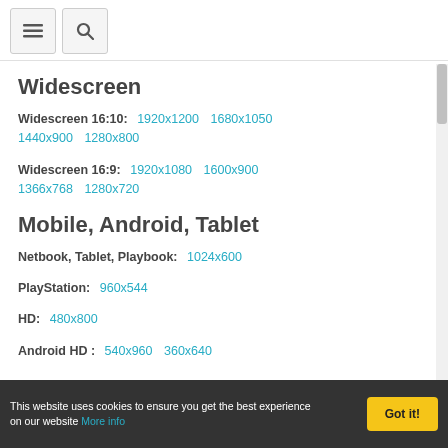≡  🔍
Widescreen
Widescreen 16:10:  1920x1200  1680x1050  1440x900  1280x800
Widescreen 16:9:  1920x1080  1600x900  1366x768  1280x720
Mobile, Android, Tablet
Netbook, Tablet, Playbook:  1024x600
PlayStation:  960x544
HD:  480x800
Android HD :  540x960  360x640
This website uses cookies to ensure you get the best experience on our website More info   Got it!